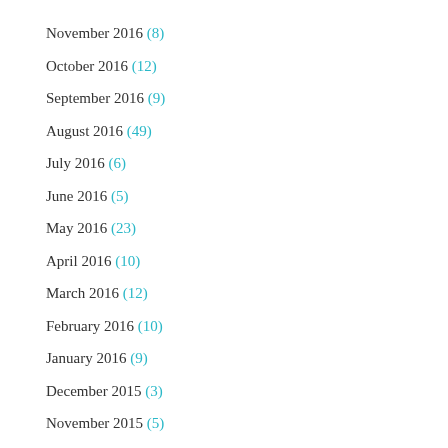November 2016 (8)
October 2016 (12)
September 2016 (9)
August 2016 (49)
July 2016 (6)
June 2016 (5)
May 2016 (23)
April 2016 (10)
March 2016 (12)
February 2016 (10)
January 2016 (9)
December 2015 (3)
November 2015 (5)
October 2015 (10)